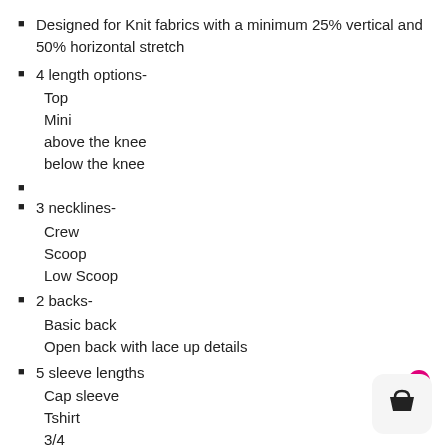Designed for Knit fabrics with a minimum 25% vertical and 50% horizontal stretch
4 length options-
Top
Mini
above the knee
below the knee
3 necklines-
Crew
Scoop
Low Scoop
2 backs-
Basic back
Open back with lace up details
5 sleeve lengths
Cap sleeve
Tshirt
3/4